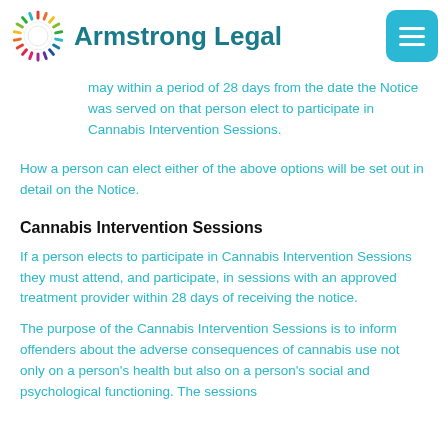Armstrong Legal
may within a period of 28 days from the date the Notice was served on that person elect to participate in Cannabis Intervention Sessions.
How a person can elect either of the above options will be set out in detail on the Notice.
Cannabis Intervention Sessions
If a person elects to participate in Cannabis Intervention Sessions they must attend, and participate, in sessions with an approved treatment provider within 28 days of receiving the notice.
The purpose of the Cannabis Intervention Sessions is to inform offenders about the adverse consequences of cannabis use not only on a person's health but also on a person's social and psychological functioning. The sessions